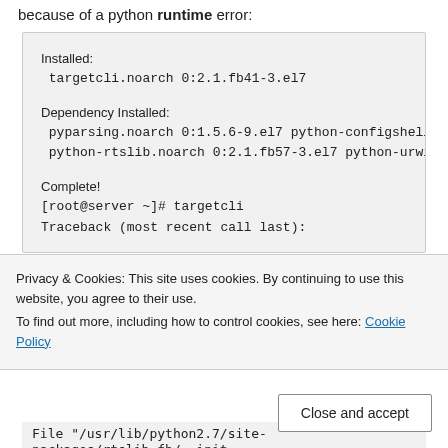because of a python runtime error:
Installed:
targetcli.noarch 0:2.1.fb41-3.el7

Dependency Installed:
pyparsing.noarch 0:1.5.6-9.el7 python-configshell.noar python-rtslib.noarch 0:2.1.fb57-3.el7 python-urwid.x86

Complete!
[root@server ~]# targetcli
Traceback (most recent call last):
Privacy & Cookies: This site uses cookies. By continuing to use this website, you agree to their use.
To find out more, including how to control cookies, see here: Cookie Policy
Close and accept
File "/usr/lib/python2.7/site-packages/rtslib_fb/__init__